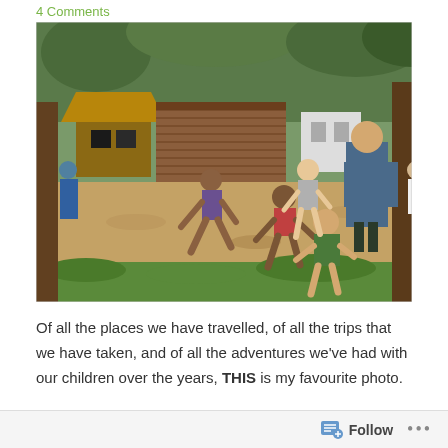4 Comments
[Figure (photo): Children and an adult playing in an outdoor dirt area in front of wooden and thatched-roof buildings in a tropical village setting. Several children are running, including local children in shorts and lighter-skinned children. An adult man stands to the right with his back to the camera.]
Of all the places we have travelled, of all the trips that we have taken, and of all the adventures we've had with our children over the years, THIS is my favourite photo.
Follow ...